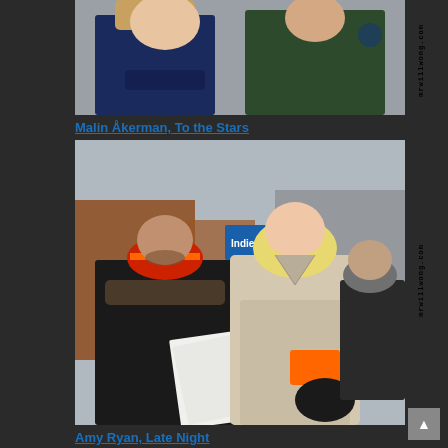[Figure (photo): Photo of Malin Åkerman at Sundance, wearing a dark navy jacket, with another person in a dark green jacket beside her. Watermark 'mrwillwong.com' visible on right side.]
Malin Åkerman, To the Stars
[Figure (photo): Photo of Amy Ryan at what appears to be Sundance Film Festival outdoors, wearing a light beige wool coat, holding papers and an orange item with a black purse. A man in a black jacket and red beanie hat is to her left, and another man in a grey hat is behind her. Storefront with Indie sign visible in background. Watermark 'mrwillwong.com' visible on right side.]
Amy Ryan, Late Night